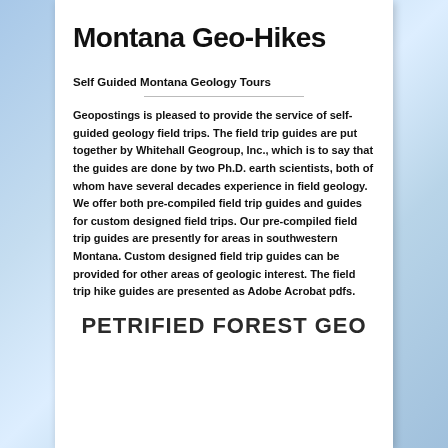Montana Geo-Hikes
Self Guided Montana Geology Tours
Geopostings is pleased to provide the service of self-guided geology field trips.  The field trip guides are put together by Whitehall Geogroup, Inc., which is to say that the guides are done by two Ph.D. earth scientists, both of whom have several decades experience in field geology. We offer both pre-compiled field trip guides and guides for custom designed field trips.  Our pre-compiled field trip guides are presently for areas in southwestern Montana. Custom designed field trip guides can be provided for other areas of geologic interest. The field trip hike guides are presented as Adobe Acrobat pdfs.
PETRIFIED FOREST GEO